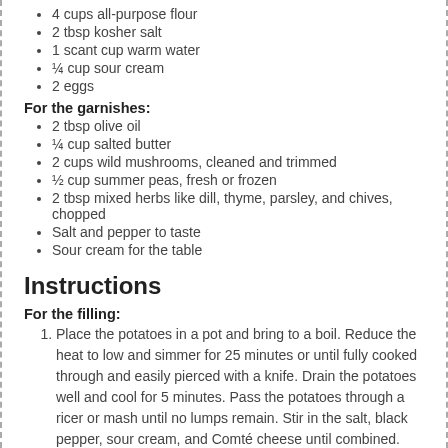4 cups all-purpose flour
2 tbsp kosher salt
1 scant cup warm water
¼ cup sour cream
2 eggs
For the garnishes:
2 tbsp olive oil
¼ cup salted butter
2 cups wild mushrooms, cleaned and trimmed
½ cup summer peas, fresh or frozen
2 tbsp mixed herbs like dill, thyme, parsley, and chives, chopped
Salt and pepper to taste
Sour cream for the table
Instructions
For the filling:
Place the potatoes in a pot and bring to a boil. Reduce the heat to low and simmer for 25 minutes or until fully cooked through and easily pierced with a knife. Drain the potatoes well and cool for 5 minutes. Pass the potatoes through a ricer or mash until no lumps remain. Stir in the salt, black pepper, sour cream, and Comté cheese until combined. Set aside partially covered and cool completely. Note: this step can be done the day before and refrigerated overnight.
For the dough: